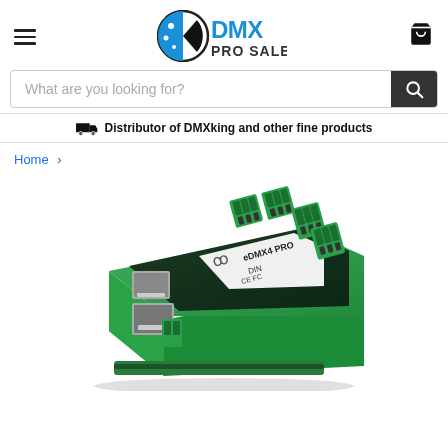DMX Pro Sales - navigation header with logo, hamburger menu, cart icon
What are you looking for?
Distributor of DMXking and other fine products
Home >
[Figure (photo): Product photo of an eDMX4 PRO DIN module — a green circuit board in a green DIN-rail enclosure with green terminal block connectors on top, two RJ45 Ethernet ports on the left side, and CE/FC certification marks visible on the label.]